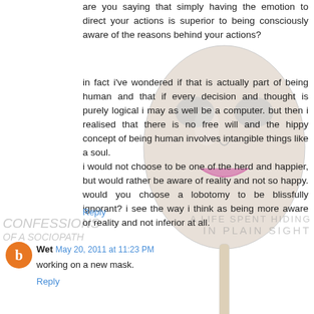are you saying that simply having the emotion to direct your actions is superior to being consciously aware of the reasons behind your actions?
in fact i've wondered if that is actually part of being human and that if every decision and thought is purely logical i may as well be a computer. but then i realised that there is no free will and the hippy concept of being human involves intangible things like a soul.
i would not choose to be one of the herd and happier, but would rather be aware of reality and not so happy. would you choose a lobotomy to be blissfully ignorant? i see the way i think as being more aware or reality and not inferior at all.
Reply
[Figure (illustration): A white theatrical mask on a stick, overlaid on the page content]
Wet May 20, 2011 at 11:23 PM
working on a new mask.
Reply